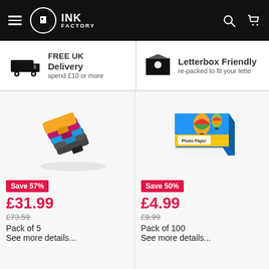INK FACTORY
FREE UK Delivery spend £10 or more
Letterbox Friendly re-packed to fit your lette
[Figure (photo): Pack of 5 ink cartridges]
Save 57%
£31.99
£73.59
Pack of 5
See more details...
[Figure (photo): Photo Paper box with hot air balloon]
Save 50%
£4.99
£9.99
Pack of 100
See more details...